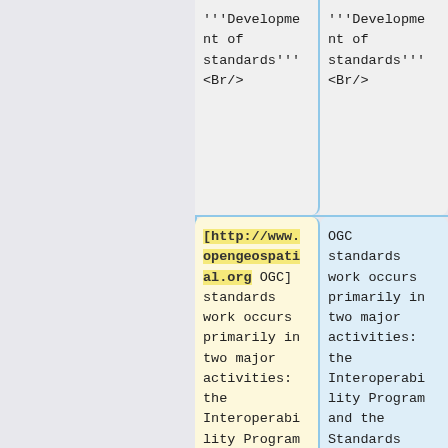'''Development of standards'''<Br/>
'''Development of standards'''<Br/>
[http://www.opengeospatial.org OGC] standards work occurs primarily in two major activities: the Interoperability Program and the Standards Program. The Interoperability Program provides a
OGC standards work occurs primarily in two major activities: the Interoperability Program and the Standards Program. The Interoperability Program provides a facilitated, rapid